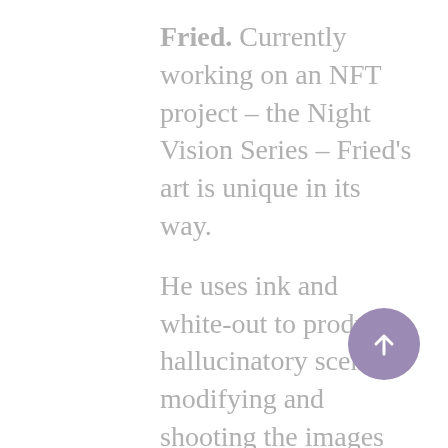Fried. Currently working on an NFT project – the Night Vision Series – Fried's art is unique in its way.

He uses ink and white-out to produce hallucinatory scenery, modifying and shooting the images repeatedly to create mind-bending animations that are designed to evolve at a frenzied pace. Fried's experimental films have already been widely exhibited across the world, including at the Tate Modern and Sundance Film Festival. On top of that, he has